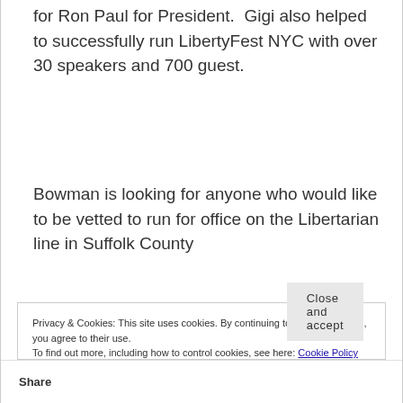for Ron Paul for President.  Gigi also helped to successfully run LibertyFest NYC with over 30 speakers and 700 guest.
Bowman is looking for anyone who would like to be vetted to run for office on the Libertarian line in Suffolk County
Privacy & Cookies: This site uses cookies. By continuing to use this website, you agree to their use.
To find out more, including how to control cookies, see here: Cookie Policy
Close and accept
Share